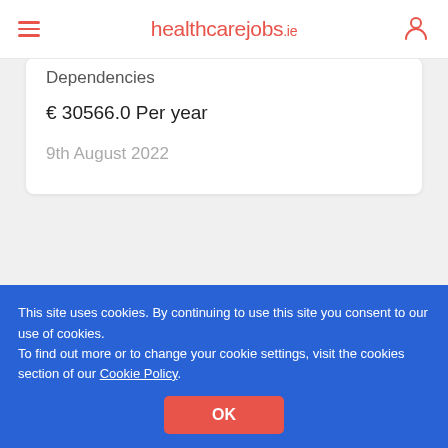healthcarejobs.ie
Dependencies
€ 30566.0 Per year
9th August 2022
This site uses cookies. By continuing to use this site you consent to our use of cookies.
To find out more or to change your cookie settings, visit the cookies section of our Cookie Policy.
OK